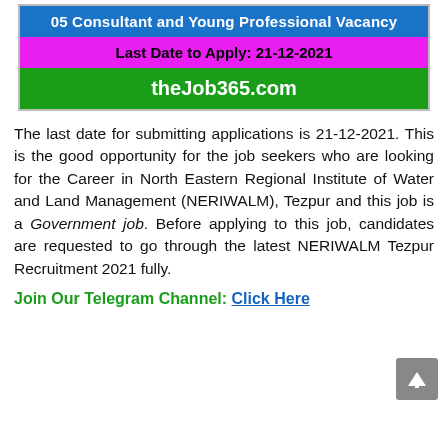[Figure (infographic): Job vacancy banner with blue, pink/magenta, and green sections showing '05 Consultant and Young Professional Vacancy', 'Last Date to Apply: 21-12-2021', and 'theJob365.com']
The last date for submitting applications is 21-12-2021. This is the good opportunity for the job seekers who are looking for the Career in North Eastern Regional Institute of Water and Land Management (NERIWALM), Tezpur and this job is a Government job. Before applying to this job, candidates are requested to go through the latest NERIWALM Tezpur Recruitment 2021 fully.
Join Our Telegram Channel: Click Here